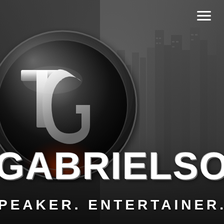[Figure (logo): TG Gabrielson logo: circular badge with metallic silver TG letters on dark background with reddish-brown bottom accent, set against a dark cityscape background]
GABRIELSON
SPEAKER. ENTERTAINER.